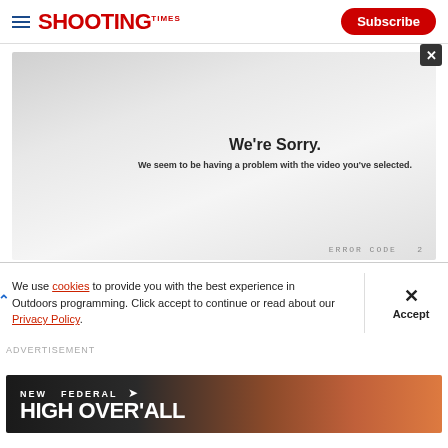SHOOTING TIMES | Subscribe
[Figure (screenshot): Video player error screen with grey gradient background showing 'We're Sorry. We seem to be having a problem with the video you've selected.' message and error code at bottom right. A close (X) button appears in the top right corner.]
We’re Sorry.
We seem to be having a problem with the video you’ve selected.
We use cookies to provide you with the best experience in Outdoors programming. Click accept to continue or read about our Privacy Policy.
Advertisement
[Figure (photo): Federal High Overall ammunition advertisement banner with dark background showing glowing embers/sparks and text 'NEW FEDERAL HIGH OVER ALL']